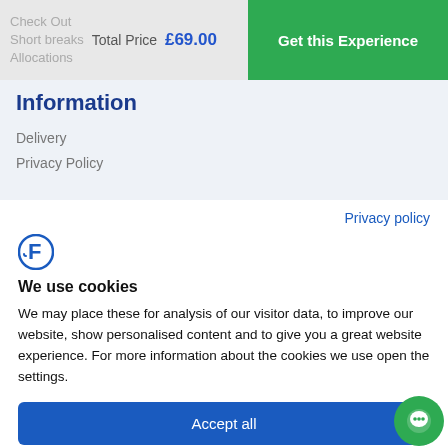Check Out
Short breaks
Allocations
Total Price £69.00
Get this Experience
Information
Delivery
Privacy Policy
Privacy policy
[Figure (logo): Cookiebot logo - stylized letter F in blue circle]
We use cookies
We may place these for analysis of our visitor data, to improve our website, show personalised content and to give you a great website experience. For more information about the cookies we use open the settings.
Accept all
Deny
No, adjust